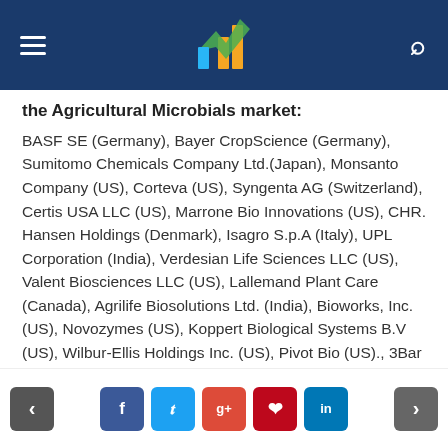Navigation bar with logo, hamburger menu, and search icon
the Agricultural Microbials market:
BASF SE (Germany), Bayer CropScience (Germany), Sumitomo Chemicals Company Ltd.(Japan), Monsanto Company (US), Corteva (US), Syngenta AG (Switzerland), Certis USA LLC (US), Marrone Bio Innovations (US), CHR. Hansen Holdings (Denmark), Isagro S.p.A (Italy), UPL Corporation (India), Verdesian Life Sciences LLC (US), Valent Biosciences LLC (US), Lallemand Plant Care (Canada), Agrilife Biosolutions Ltd. (India), Bioworks, Inc. (US), Novozymes (US), Koppert Biological Systems B.V (US), Wilbur-Ellis Holdings Inc. (US), Pivot Bio (US)., 3Bar Biologics, AgBiome Innovations, Azotic Technologies, BioConsorita,
Navigation: prev, Facebook, Twitter, Google+, Pinterest, LinkedIn, next